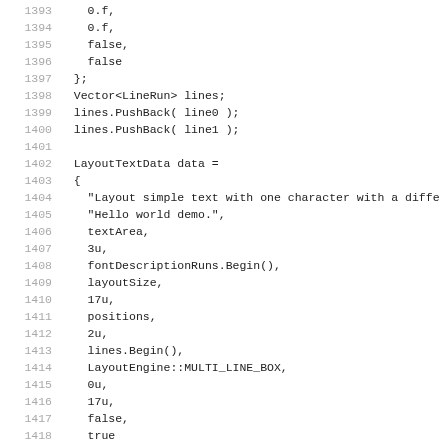Code listing lines 1393–1425 showing C++ code with LayoutTextData structure initialization and LayoutTextTest call